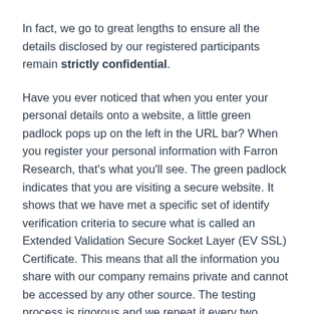In fact, we go to great lengths to ensure all the details disclosed by our registered participants remain strictly confidential.
Have you ever noticed that when you enter your personal details onto a website, a little green padlock pops up on the left in the URL bar? When you register your personal information with Farron Research, that's what you'll see. The green padlock indicates that you are visiting a secure website. It shows that we have met a specific set of identify verification criteria to secure what is called an Extended Validation Secure Socket Layer (EV SSL) Certificate. This means that all the information you share with our company remains private and cannot be accessed by any other source. The testing process is rigorous and we repeat it every two years.
In short, we value your privacy. And in a business